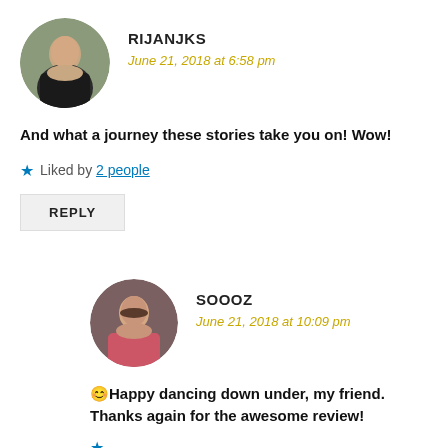RIJANJKS
June 21, 2018 at 6:58 pm
And what a journey these stories take you on! Wow!
Liked by 2 people
REPLY
SOOOZ
June 21, 2018 at 10:09 pm
😊Happy dancing down under, my friend. Thanks again for the awesome review!